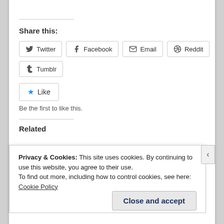Share this:
Twitter
Facebook
Email
Reddit
Tumblr
Like
Be the first to like this.
Related
Privacy & Cookies: This site uses cookies. By continuing to use this website, you agree to their use.
To find out more, including how to control cookies, see here: Cookie Policy
Close and accept